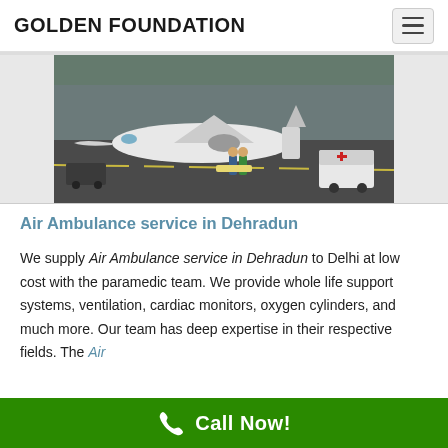GOLDEN FOUNDATION
[Figure (photo): Aerial/tarmac view of a medical air ambulance plane with medical personnel loading a patient on a stretcher, with an ambulance vehicle visible on the right side of the tarmac.]
Air Ambulance service in Dehradun
We supply Air Ambulance service in Dehradun to Delhi at low cost with the paramedic team. We provide whole life support systems, ventilation, cardiac monitors, oxygen cylinders, and much more. Our team has deep expertise in their respective fields. The Air
Call Now!